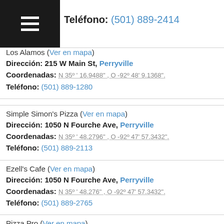Teléfono: (501) 889-2414
Los Alamos (Ver en mapa)
Dirección: 215 W Main St, Perryville
Coordenadas: N 35º ' 16.9488" , O -92º 48' 9.1368".
Teléfono: (501) 889-1280
Simple Simon's Pizza (Ver en mapa)
Dirección: 1050 N Fourche Ave, Perryville
Coordenadas: N 35º ' 48.2796" , O -92º 47' 57.3432".
Teléfono: (501) 889-2113
Ezell's Cafe (Ver en mapa)
Dirección: 1050 N Fourche Ave, Perryville
Coordenadas: N 35º ' 48.276" , O -92º 47' 57.3432".
Teléfono: (501) 889-2765
Pizza Pro (Ver en mapa)
Dirección: 207 N Fourche Ave, Perryville